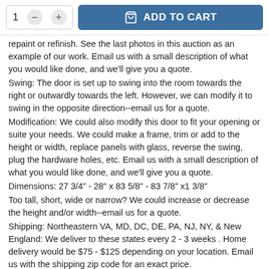[Figure (screenshot): E-commerce add-to-cart UI with quantity selector showing '1', minus and plus buttons, and a blue 'ADD TO CART' button with a shopping bag icon.]
repaint or refinish. See the last photos in this auction as an example of our work. Email us with a small description of what you would like done, and we'll give you a quote.
Swing: The door is set up to swing into the room towards the right or outwardly towards the left. However, we can modify it to swing in the opposite direction--email us for a quote.
Modification: We could also modify this door to fit your opening or suite your needs. We could make a frame, trim or add to the height or width, replace panels with glass, reverse the swing, plug the hardware holes, etc. Email us with a small description of what you would like done, and we'll give you a quote.
Dimensions: 27 3/4" - 28" x 83 5/8" - 83 7/8" x1 3/8"
Too tall, short, wide or narrow? We could increase or decrease the height and/or width--email us for a quote.
Shipping: Northeastern VA, MD, DC, DE, PA, NJ, NY, & New England: We deliver to these states every 2 - 3 weeks . Home delivery would be $75 - $125 depending on your location. Email us with the shipping zip code for an exact price.